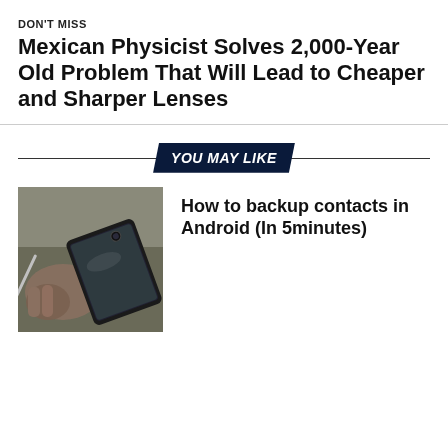DON'T MISS
Mexican Physicist Solves 2,000-Year Old Problem That Will Lead to Cheaper and Sharper Lenses
YOU MAY LIKE
[Figure (photo): Person holding a smartphone, close-up shot from above]
How to backup contacts in Android (In 5minutes)